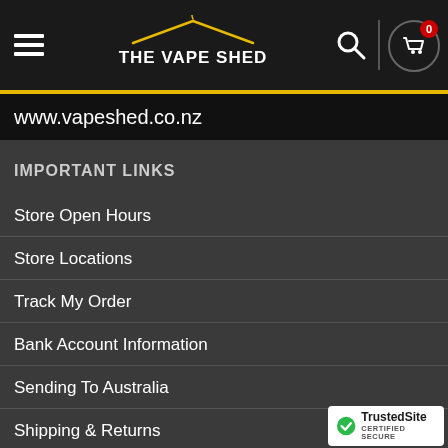THE VAPE SHED — www.vapeshed.co.nz
IMPORTANT LINKS
Store Open Hours
Store Locations
Track My Order
Bank Account Information
Sending To Australia
Shipping & Returns
Terms & Conditions
[Figure (logo): TrustedSite Certified Secure badge]